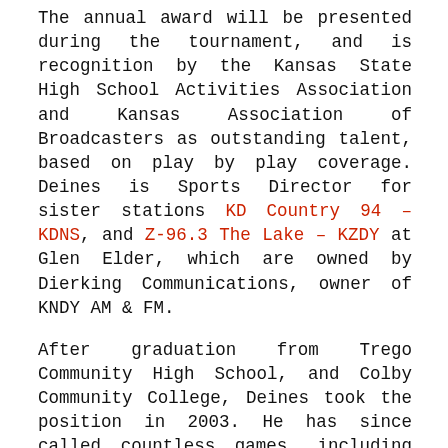The annual award will be presented during the tournament, and is recognition by the Kansas State High School Activities Association and Kansas Association of Broadcasters as outstanding talent, based on play by play coverage. Deines is Sports Director for sister stations KD Country 94 – KDNS, and Z-96.3 The Lake – KZDY at Glen Elder, which are owned by Dierking Communications, owner of KNDY AM & FM.
After graduation from Trego Community High School, and Colby Community College, Deines took the position in 2003. He has since called countless games, including many football, volleyball, and basketball games for area teams on KNDY in postseason action.
Previous recipients of the award include Bob Davis, Wyatt Thompson, and Brian Hanni. Mike Hammett, a graduate of Marysville High School, and former